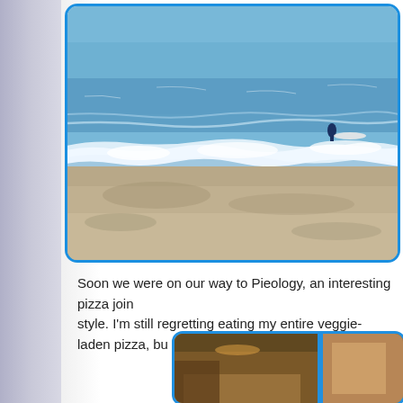[Figure (photo): Beach scene with ocean waves, sandy shore, and surfers in the water. Blue tones, vintage/filtered photo style with blue rounded border frame.]
Soon we were on our way to Pieology, an interesting pizza joint style. I'm still regretting eating my entire veggie-laden pizza, bu
[Figure (photo): Indoor restaurant scene, partially visible, with blue rounded border frame. Second photo showing Pieology restaurant.]